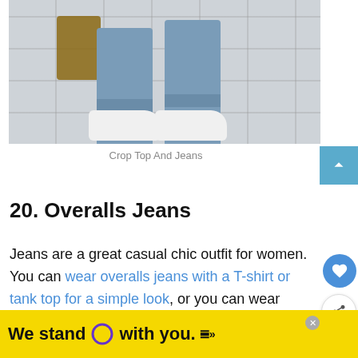[Figure (photo): Photo of person wearing light blue jeans rolled at cuffs with white sneakers, holding a brown Louis Vuitton bag, standing on stone pavement tiles]
Crop Top And Jeans
20. Overalls Jeans
Jeans are a great casual chic outfit for women. You can wear overalls jeans with a T-shirt or tank top for a simple look, or you can wear them with shorts and sneakers for
[Figure (infographic): Advertisement banner: yellow background with text 'We stand O with you.' where O is a purple circle outline, followed by small wavy lines symbol]